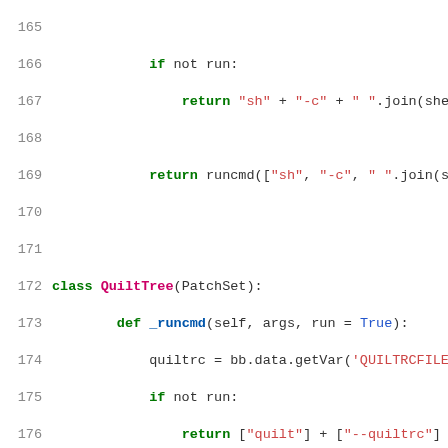Source code snippet (Python), lines 165–194, showing class QuiltTree with methods _runcmd, _quiltpatchpath, __init__, and Clean.